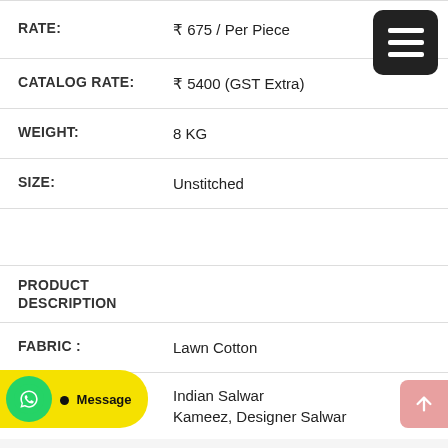RATE: ₹ 675 / Per Piece
CATALOG RATE: ₹ 5400 (GST Extra)
WEIGHT: 8 KG
SIZE: Unstitched
PRODUCT DESCRIPTION
FABRIC : Lawn Cotton
Indian Salwar Kameez, Designer Salwar